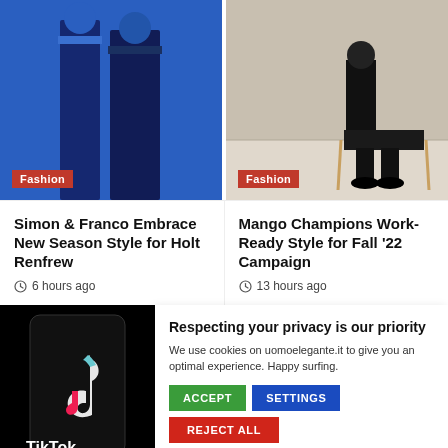[Figure (photo): Fashion photo left: person in dark outfit against blue background with Fashion badge]
[Figure (photo): Fashion photo right: person sitting in black outfit on light background with Fashion badge]
Simon & Franco Embrace New Season Style for Holt Renfrew
6 hours ago
Mango Champions Work-Ready Style for Fall '22 Campaign
13 hours ago
[Figure (photo): TikTok logo on phone screen with Fashion badge at bottom]
Respecting your privacy is our priority
We use cookies on uomoelegante.it to give you an optimal experience. Happy surfing.
ACCEPT  SETTINGS  REJECT ALL
PolkaBridge(PBR)  $0.439876    DSLA Protocol(DSLA)  $0.003681